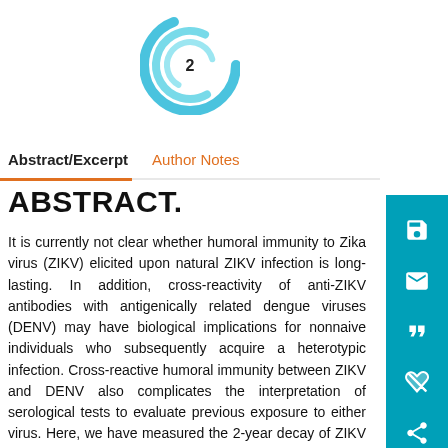[Figure (logo): Circular swirl logo with number 2 in the center, teal/blue colors]
Abstract/Excerpt | Author Notes
ABSTRACT.
It is currently not clear whether humoral immunity to Zika virus (ZIKV) elicited upon natural ZIKV infection is long-lasting. In addition, cross-reactivity of anti-ZIKV antibodies with antigenically related dengue viruses (DENV) may have biological implications for nonnaive individuals who subsequently acquire a heterotypic infection. Cross-reactive humoral immunity between ZIKV and DENV also complicates the interpretation of serological tests to evaluate previous exposure to either virus. Here, we have measured the 2-year decay of ZIKV neutralizing antibodies in people living in a ZIKV/DENV endemic area in Brazil who were identified as having an acute infection (group 1) or past (but recent) infection (group 2) with ZIKV in 2015–16. The titer of